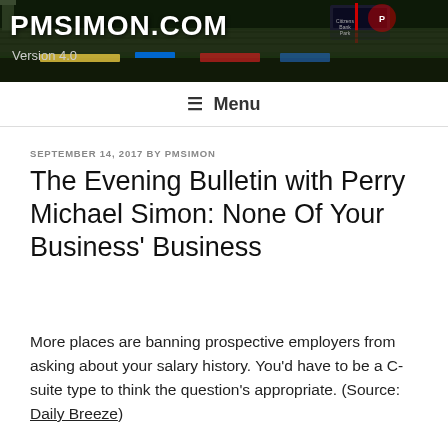PMSIMON.COM
Version 4.0
≡ Menu
SEPTEMBER 14, 2017 BY PMSIMON
The Evening Bulletin with Perry Michael Simon: None Of Your Business' Business
More places are banning prospective employers from asking about your salary history. You'd have to be a C-suite type to think the question's appropriate. (Source: Daily Breeze)